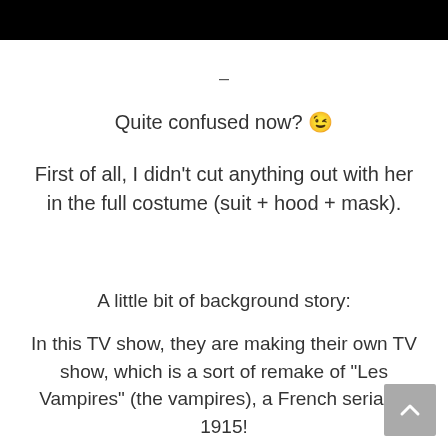[Figure (other): Black banner/header bar at top of page]
–
Quite confused now? 😉
First of all, I didn't cut anything out with her in the full costume (suit + hood + mask).
A little bit of background story:
In this TV show, they are making their own TV show, which is a sort of remake of “Les Vampires” (the vampires), a French serial of 1915!